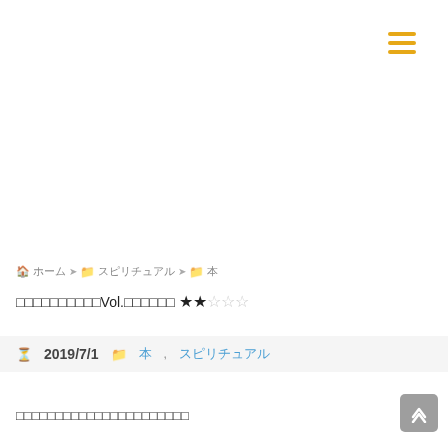[Figure (other): Hamburger menu icon with three horizontal orange/yellow lines in top-right corner]
🏠 ホーム > 📁 スピリチュアル > 📁 本
□□□□□□□□□□Vol.□□□□□□ ★★☆☆☆
⏱ 2019/7/1  📁 本, スピリチュアル
□□□□□□□□□□□□□□□□□□□□□□